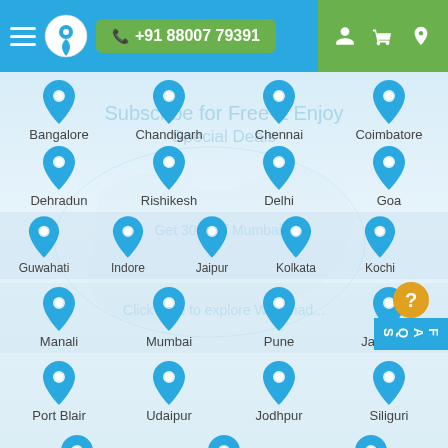+91 88007 79391
Bangalore
Chandigarh
Chennai
Coimbatore
Dehradun
Rishikesh
Delhi
Goa
Guwahati
Indore
Jaipur
Kolkata
Kochi
Manali
Mumbai
Pune
Jaisalmer
Port Blair
Udaipur
Jodhpur
Siliguri